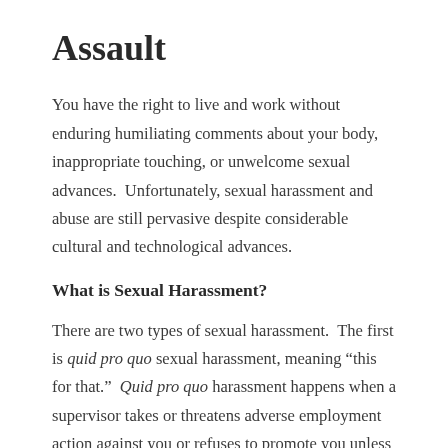Assault
You have the right to live and work without enduring humiliating comments about your body, inappropriate touching, or unwelcome sexual advances.  Unfortunately, sexual harassment and abuse are still pervasive despite considerable cultural and technological advances.
What is Sexual Harassment?
There are two types of sexual harassment.  The first is quid pro quo sexual harassment, meaning “this for that.”  Quid pro quo harassment happens when a supervisor takes or threatens adverse employment action against you or refuses to promote you unless